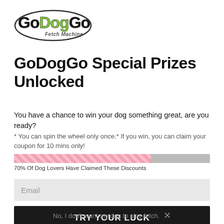[Figure (logo): GoDogGo Fetch Machine logo with stylized text in black and green on white background]
GoDogGo Special Prizes Unlocked
You have a chance to win your dog something great, are you ready?
* You can spin the wheel only once.* If you win, you can claim your coupon for 10 mins only!
[Figure (infographic): Progress bar showing 70% filled with pink diagonal stripes, gray remainder. Label: 70% Of Dog Lovers Have Claimed These Discounts]
Email
TRY YOUR LUCK
No, I don't want my dog to play fetch.